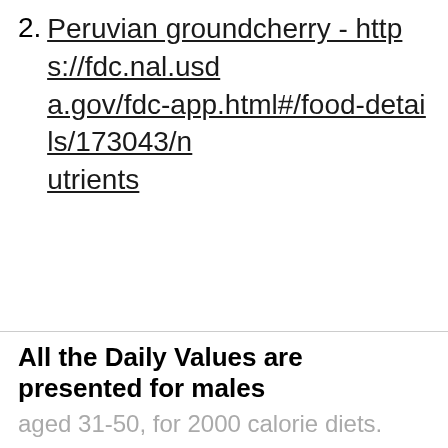2. Peruvian groundcherry - https://fdc.nal.usda.gov/fdc-app.html#/food-details/173043/nutrients
All the Daily Values are presented for males aged 31-50, for 2000 calorie diets.